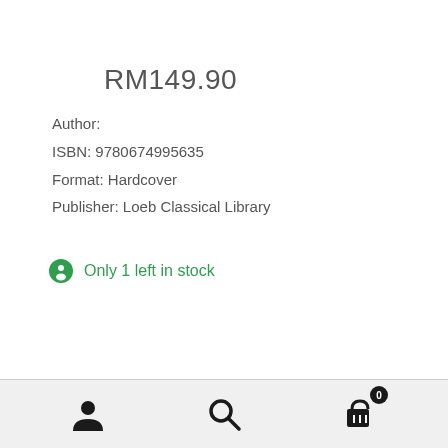RM149.90
Author:
ISBN: 9780674995635
Format: Hardcover
Publisher: Loeb Classical Library
Only 1 left in stock
Add to cart